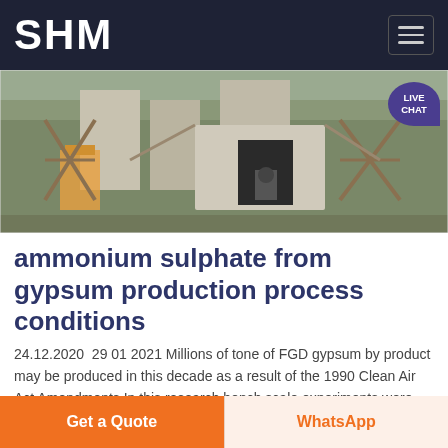SHM
[Figure (photo): Industrial construction or mining site photo showing concrete structures with steel scaffolding and machinery]
ammonium sulphate from gypsum production process conditions
24.12.2020  29 01 2021 Millions of tone of FGD gypsum by product may be produced in this decade as a result of the 1990 Clean Air Act Amendments In this research bench scale experiments were conducted to obtain process data for the production of ammonium sulfate from FGD...